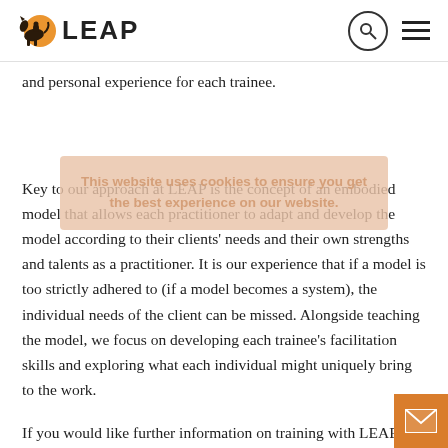LEAP
and personal experience for each trainee.
This website uses cookies to ensure you get the best experience on our website.
Key to our approach at LEAP is the concept of an embodied model that allows each practitioner to adapt and develop the model according to their clients' needs and their own strengths and talents as a practitioner. It is our experience that if a model is too strictly adhered to (if a model becomes a system), the individual needs of the client can be missed. Alongside teaching the model, we focus on developing each trainee's facilitation skills and exploring what each individual might uniquely bring to the work.
If you would like further information on training with LEAP, to receive an application and a brochure, please contact us on 0776 0776 500 or email us below.